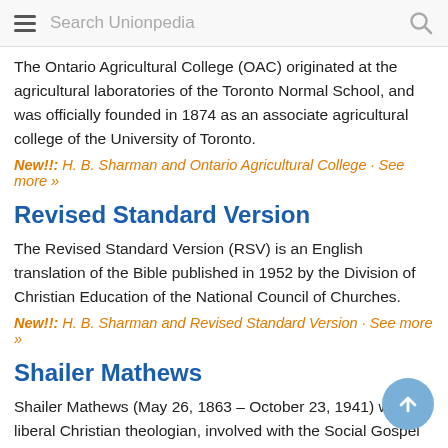Search Unionpedia
The Ontario Agricultural College (OAC) originated at the agricultural laboratories of the Toronto Normal School, and was officially founded in 1874 as an associate agricultural college of the University of Toronto.
New!!: H. B. Sharman and Ontario Agricultural College · See more »
Revised Standard Version
The Revised Standard Version (RSV) is an English translation of the Bible published in 1952 by the Division of Christian Education of the National Council of Churches.
New!!: H. B. Sharman and Revised Standard Version · See more »
Shailer Mathews
Shailer Mathews (May 26, 1863 – October 23, 1941) was a liberal Christian theologian, involved with the Social Gospel movement.
New!!: H. B. Sharman and Shailer Mathews · See more »